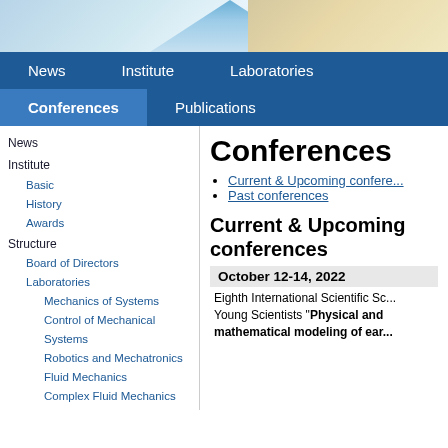[Figure (photo): Website header banner with blue sky and landscape/tree imagery]
News | Institute | Laboratories | Conferences | Publications
News
Institute
Basic
History
Awards
Structure
Board of Directors
Laboratories
Mechanics of Systems
Control of Mechanical Systems
Robotics and Mechatronics
Fluid Mechanics
Complex Fluid Mechanics
Physical Gas Dynamics
Conferences
Current & Upcoming conferences
Past conferences
Current & Upcoming conferences
October 12-14, 2022
Eighth International Scientific School for Young Scientists "Physical and mathematical modeling of ear..."